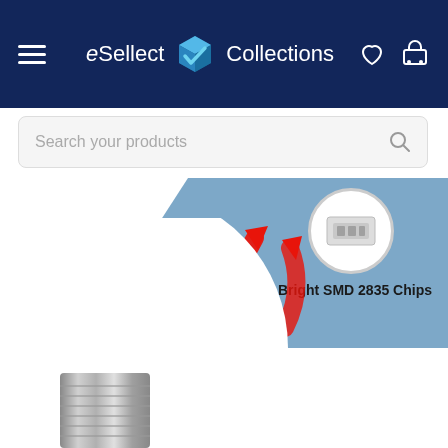eSellect Collections
Search your products
[Figure (screenshot): Close-up product image of an LED light bulb (E27 screw base, white frosted body) shown at an angle. Two red curved arrows point upward toward a blue diagonal banner in the upper right corner showing a circular inset of SMD chips and the text 'Super Bright SMD 2835 Chips'.]